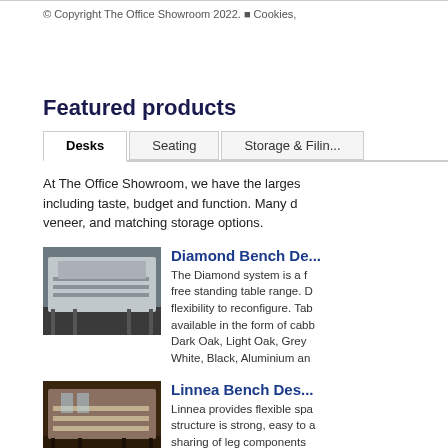© Copyright The Office Showroom 2022. ■ Cookies,
Featured products
At The Office Showroom, we have the larges... including taste, budget and function. Many d... veneer, and matching storage options.
[Figure (photo): Office bench desks in a large open-plan office with dark wood flooring]
Diamond Bench De...
The Diamond system is a f... free standing table range. D... flexibility to reconfigure. Tab... available in the form of cabb... Dark Oak, Light Oak, Grey ... White, Black, Aluminium an...
[Figure (photo): Linnea bench desks in an office with dark flooring]
Linnea Bench Des...
Linnea provides flexible spa... structure is strong, easy to a... sharing of leg components ... implications. Multi-functiona... complemetary styles. Availa...
[Figure (photo): Infinity bench desks in an office]
Infinity Bench Des...
The Infinity bench system h... and offers unlimited configu...